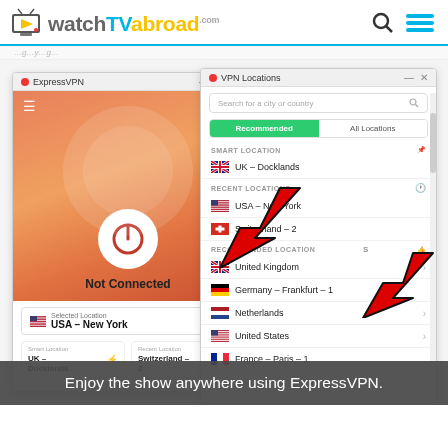watchTVabroad.com
[Figure (screenshot): ExpressVPN application screenshot showing two windows: left window shows 'Not Connected' state with USA - New York selected location, and right window shows VPN Locations panel with UK - Docklands as Smart Location, USA - New York and Switzerland - 2 as Recent Locations, and United Kingdom, Germany - Frankfurt - 1, Netherlands, United States, France - Paris - 1 as Recommended Locations. Two red arrows point to Switzerland - 2 and Recommended Locations sections.]
Enjoy the show anywhere using ExpressVPN.